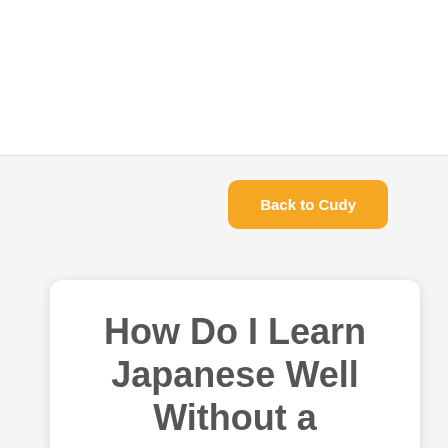[Figure (other): Orange rounded button labeled 'Back to Cudy' positioned in the upper right area of a white header section]
How Do I Learn Japanese Well Without a